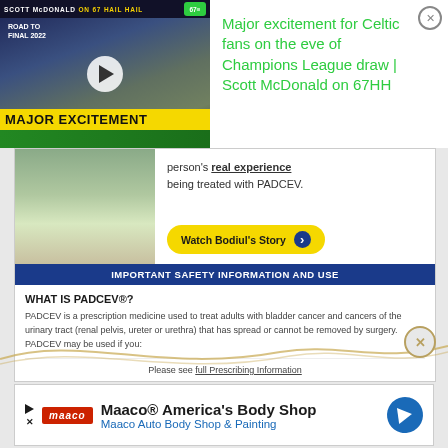[Figure (screenshot): Video thumbnail showing Scott McDonald, Champions League trophy, 'MAJOR EXCITEMENT' text overlay, Road to Final 2022 branding]
Major excitement for Celtic fans on the eve of Champions League draw | Scott McDonald on 67HH
[Figure (screenshot): PADCEV pharmaceutical advertisement with safety information. Shows a person's real experience being treated with PADCEV. Watch Bodiul's Story button. IMPORTANT SAFETY INFORMATION AND USE. WHAT IS PADCEV®? PADCEV is a prescription medicine used to treat adults with bladder cancer and cancers of the urinary tract (renal pelvis, ureter or urethra) that has spread or cannot be removed by surgery. PADCEV may be used if you: Please see full Prescribing Information]
[Figure (screenshot): Maaco advertisement. Maaco® America's Body Shop. Maaco Auto Body Shop & Painting.]